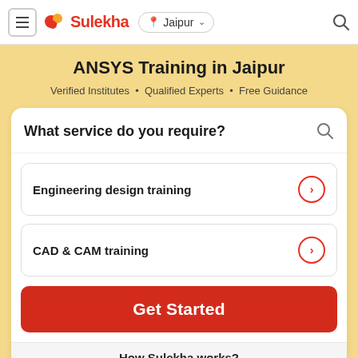≡ Sulekha | Jaipur ▾
ANSYS Training in Jaipur
Verified Institutes • Qualified Experts • Free Guidance
What service do you require?
Engineering design training
CAD & CAM training
Get Started
How Sulekha works?
1  2  3